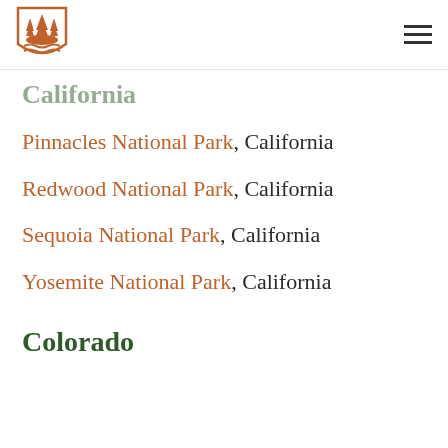[Logo] [Navigation menu icon]
California
Pinnacles National Park, California
Redwood National Park, California
Sequoia National Park, California
Yosemite National Park, California
Colorado